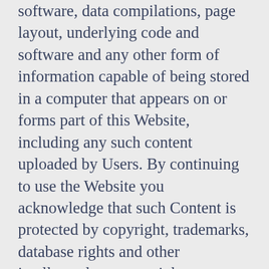software, data compilations, page layout, underlying code and software and any other form of information capable of being stored in a computer that appears on or forms part of this Website, including any such content uploaded by Users. By continuing to use the Website you acknowledge that such Content is protected by copyright, trademarks, database rights and other intellectual property rights. Nothing on this site shall be construed as granting, by implication, estoppel, or otherwise, any license or right to use any trademark, logo or service mark displayed on the site without the owner's prior written permission
2. You may, for your own personal, non-commercial use only, do the